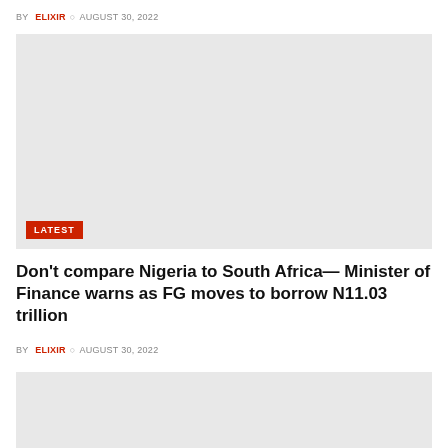BY ELIXIR  AUGUST 30, 2022
[Figure (photo): Large image placeholder with LATEST badge at bottom left]
Don’t compare Nigeria to South Africa— Minister of Finance warns as FG moves to borrow N11.03 trillion
BY ELIXIR  AUGUST 30, 2022
[Figure (photo): Second image placeholder at bottom of page]